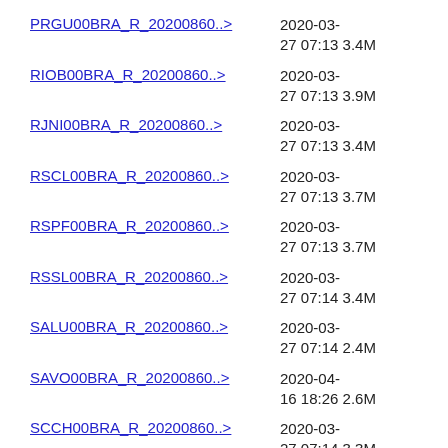PRGU00BRA_R_20200860..> 2020-03-27 07:13 3.4M
RIOB00BRA_R_20200860..> 2020-03-27 07:13 3.9M
RJNI00BRA_R_20200860..> 2020-03-27 07:13 3.4M
RSCL00BRA_R_20200860..> 2020-03-27 07:13 3.7M
RSPF00BRA_R_20200860..> 2020-03-27 07:13 3.7M
RSSL00BRA_R_20200860..> 2020-03-27 07:14 3.4M
SALU00BRA_R_20200860..> 2020-03-27 07:14 2.4M
SAVO00BRA_R_20200860..> 2020-04-16 18:26 2.6M
SCCH00BRA_R_20200860..> 2020-03-27 07:14 3.3M
SEAJ00BRA_R_20200860..> 2020-03-27 07:14 3.7M
SJSP00BRA_R_20200860..> 2020-03-27 07:14 3.6M